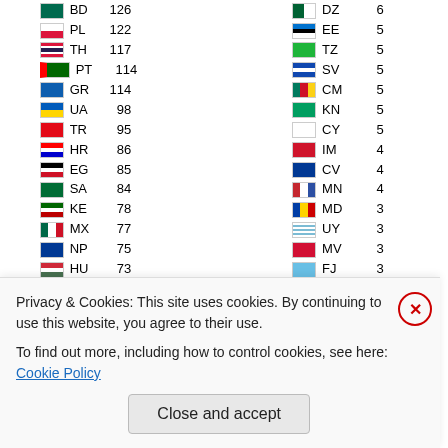| Flag | Code | Count | Flag | Code | Count |
| --- | --- | --- | --- | --- | --- |
| BD | 126 | DZ | 6 |
| PL | 122 | EE | 5 |
| TH | 117 | TZ | 5 |
| PT | 114 | SV | 5 |
| GR | 114 | CM | 5 |
| UA | 98 | KN | 5 |
| TR | 95 | CY | 5 |
| HR | 86 | IM | 4 |
| EG | 85 | CV | 4 |
| SA | 84 | MN | 4 |
| KE | 78 | MD | 3 |
| MX | 77 | UY | 3 |
| NP | 75 | MV | 3 |
| HU | 73 | FJ | 3 |
| AT | 73 | UG | 3 |
| HK | 72 | AL | 3 |
| AR | 72 | VI | 3 |
| GE | 62 | PS | 2 |
| KR | 47 | KZ | 2 |
| SK | 40 | AO | 2 |
| NG | 38 | NA | 2 |
Privacy & Cookies: This site uses cookies. By continuing to use this website, you agree to their use.
To find out more, including how to control cookies, see here: Cookie Policy